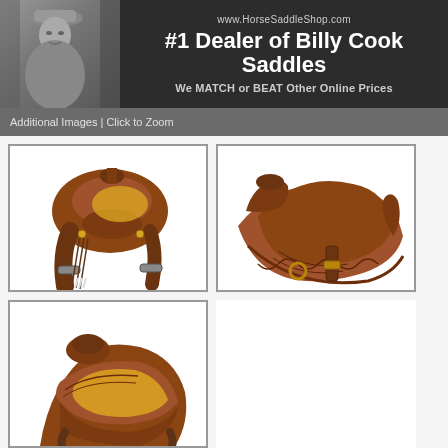[Figure (photo): Black and white photo of Billy Cook with header banner: www.HorseSaddleShop.com, #1 Dealer of Billy Cook Saddles, We MATCH or BEAT Other Online Prices]
Additional Images | Click to Zoom
[Figure (photo): Western horse saddle shown from the side/back with fringe and stirrups against white background]
[Figure (photo): Close-up side view of western horse saddle showing seat and tooled leather detail]
[Figure (photo): Partial view of another western horse saddle from above/behind angle]